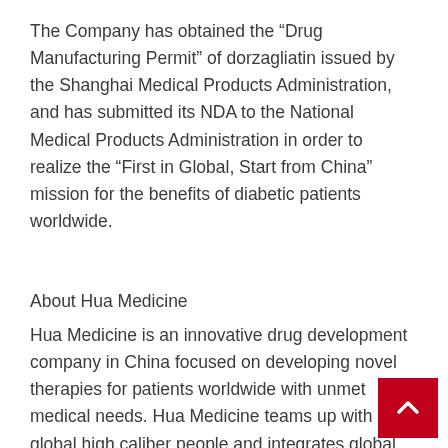The Company has obtained the “Drug Manufacturing Permit” of dorzagliatin issued by the Shanghai Medical Products Administration, and has submitted its NDA to the National Medical Products Administration in order to realize the “First in Global, Start from China” mission for the benefits of diabetic patients worldwide.
About Hua Medicine
Hua Medicine is an innovative drug development company in China focused on developing novel therapies for patients worldwide with unmet medical needs. Hua Medicine teams up with global high caliber people and integrates global resources to explore breakthrough technologies and products and accelerate global innovation in diabetes care. Targeting the glucose sensor glucokinase, dorzagliatin, a novel oral diabetes drug restoring glucose sensitivity in T2D patients, has